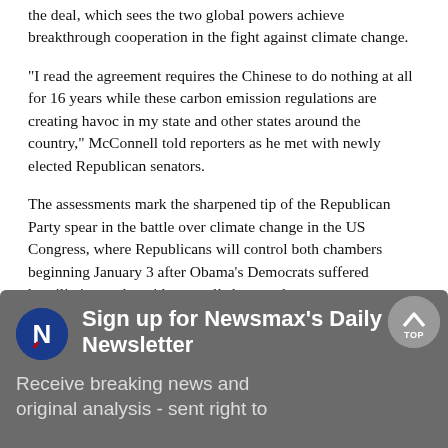the deal, which sees the two global powers achieve breakthrough cooperation in the fight against climate change.
"I read the agreement requires the Chinese to do nothing at all for 16 years while these carbon emission regulations are creating havoc in my state and other states around the country," McConnell told reporters as he met with newly elected Republican senators.
The assessments mark the sharpened tip of the Republican Party spear in the battle over climate change in the US Congress, where Republicans will control both chambers beginning January 3 after Obama's Democrats suffered humiliation at the midterm polls last week.
Outgoing Senate Majority Leader Harry Reid hailed the US-China pact as one that could "spur other countries" to join in the climate change fight.
[Figure (other): Newsmax Daily Newsletter signup box with Newsmax logo (blue circle with white N), heading 'Sign up for Newsmax's Daily Newsletter', and subtext 'Receive breaking news and original analysis - sent right to']